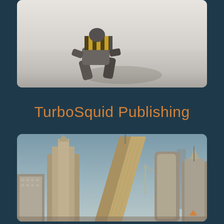[Figure (illustration): 3D rendered robot/mech figure lying on a light gray surface, viewed from above and side angle. The robot has yellow and black hazard stripes on its back unit.]
TurboSquid Publishing
[Figure (illustration): 3D rendered futuristic city skyline with tall skyscrapers and modern architecture against a hazy sky. Buildings include a distinctive tilted tower and various glass skyscrapers. An orange upward-pointing chevron arrow is visible in the lower right corner.]